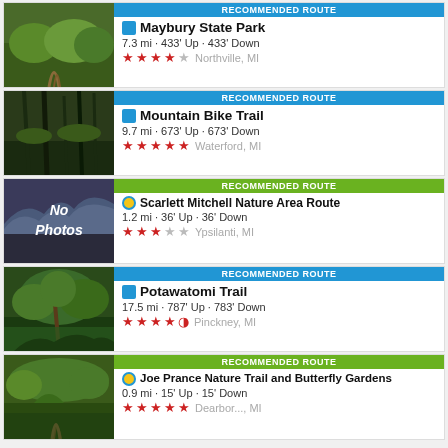RECOMMENDED ROUTE | Maybury State Park | 7.3 mi · 433' Up · 433' Down | ★★★★☆ Northville, MI
RECOMMENDED ROUTE | Mountain Bike Trail | 9.7 mi · 673' Up · 673' Down | ★★★★★ Waterford, MI
RECOMMENDED ROUTE | Scarlett Mitchell Nature Area Route | 1.2 mi · 36' Up · 36' Down | ★★★☆☆ Ypsilanti, MI
RECOMMENDED ROUTE | Potawatomi Trail | 17.5 mi · 787' Up · 783' Down | ★★★★½ Pinckney, MI
RECOMMENDED ROUTE | Joe Prance Nature Trail and Butterfly Gardens | 0.9 mi · 15' Up · 15' Down | ★★★★★ Dearbor..., MI